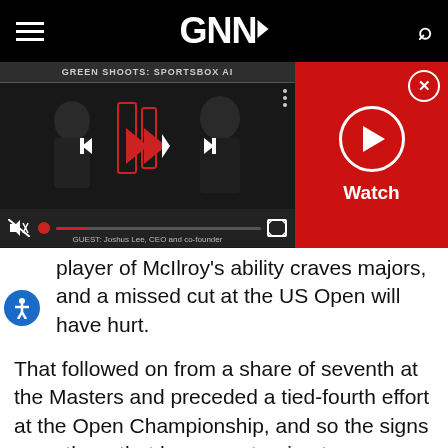GNNI
[Figure (screenshot): Video player showing GREEN SHOOTS: SPORTSBOX AI with playback controls, progress bar, mute icon, and a red Watch panel with play button and close button]
player of Mcllroy's ability craves majors, and a missed cut at the US Open will have hurt.
That followed on from a share of seventh at the Masters and preceded a tied-fourth effort at the Open Championship, and so the signs were there that he was returning to somewhere near top form.